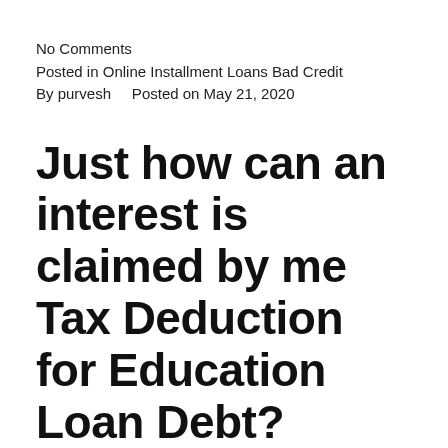No Comments
Posted in Online Installment Loans Bad Credit
By purvesh    Posted on May 21, 2020
Just how can an interest is claimed by me Tax Deduction for Education Loan Debt?
In 2019, IRS taxation legislation enables you to claim a learning pupil loan interest deduction of $2,500 on